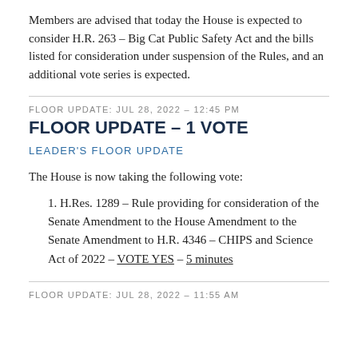Members are advised that today the House is expected to consider H.R. 263 – Big Cat Public Safety Act and the bills listed for consideration under suspension of the Rules, and an additional vote series is expected.
FLOOR UPDATE: JUL 28, 2022 – 12:45 PM
FLOOR UPDATE – 1 VOTE
LEADER'S FLOOR UPDATE
The House is now taking the following vote:
H.Res. 1289 – Rule providing for consideration of the Senate Amendment to the House Amendment to the Senate Amendment to H.R. 4346 – CHIPS and Science Act of 2022 – VOTE YES – 5 minutes
FLOOR UPDATE: JUL 28, 2022 – 11:55 AM